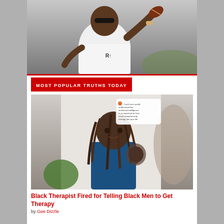[Figure (photo): Person in white polo shirt holding a football up, wearing sunglasses, photographed outdoors]
MOST POPULAR TRUTHS TODAY
[Figure (photo): Video screenshot of a woman with braided hair and a tattoo on her shoulder, with a social media post overlay reading 'I wish men would understood that emotional intelligence is so important bc how much clarity/security it brings into your life']
Black Therapist Fired for Telling Black Men to Get Therapy
by Gee Dizzle